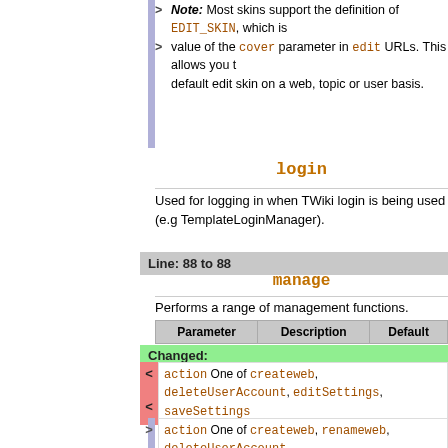> Note: Most skins support the definition of EDIT_SKIN, which is value of the cover parameter in edit URLs. This allows you to default edit skin on a web, topic or user basis.
login
Used for logging in when TWiki login is being used (e.g TemplateLoginManager).
Line: 88 to 88
manage
Performs a range of management functions.
| Parameter | Description | Default |
| --- | --- | --- |
Changed:
action  One of createweb, deleteUserAccount, editSettings, saveSettings
action  One of createweb, renameweb, deleteUserAccount, editSettings or saveSettings
Note: The manage script can only be called via http POST me